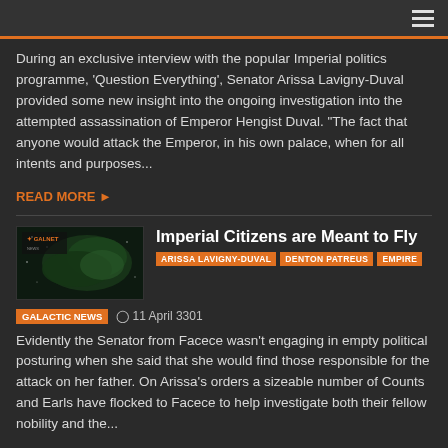menu/hamburger icon
During an exclusive interview with the popular Imperial politics programme, 'Question Everything', Senator Arissa Lavigny-Duval provided some new insight into the ongoing investigation into the attempted assassination of Emperor Hengist Duval. "The fact that anyone would attack the Emperor, in his own palace, when for all intents and purposes...
READ MORE ▶
Imperial Citizens are Meant to Fly
ARISSA LAVIGNY-DUVAL  DENTON PATREUS  EMPIRE
GALACTIC NEWS   ⊙ 11 April 3301
Evidently the Senator from Facece wasn't engaging in empty political posturing when she said that she would find those responsible for the attack on her father. On Arissa's orders a sizeable number of Counts and Earls have flocked to Facece to help investigate both their fellow nobility and the...
READ MORE ▶